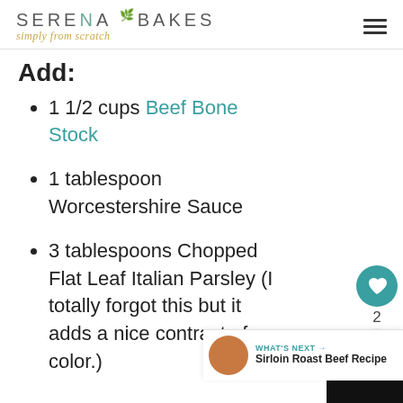SERENA BAKES simply from scratch
Add:
1 1/2 cups Beef Bone Stock
1 tablespoon Worcestershire Sauce
3 tablespoons Chopped Flat Leaf Italian Parsley (I totally forgot this but it adds a nice contrast of color.)